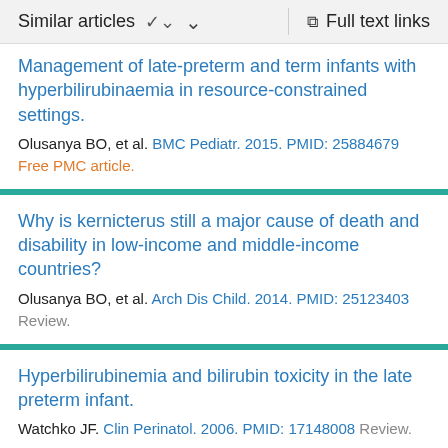Similar articles  ∨   Full text links
Management of late-preterm and term infants with hyperbilirubinaemia in resource-constrained settings.
Olusanya BO, et al. BMC Pediatr. 2015. PMID: 25884679
Free PMC article.
Why is kernicterus still a major cause of death and disability in low-income and middle-income countries?
Olusanya BO, et al. Arch Dis Child. 2014. PMID: 25123403
Review.
Hyperbilirubinemia and bilirubin toxicity in the late preterm infant.
Watchko JF. Clin Perinatol. 2006. PMID: 17148008 Review.